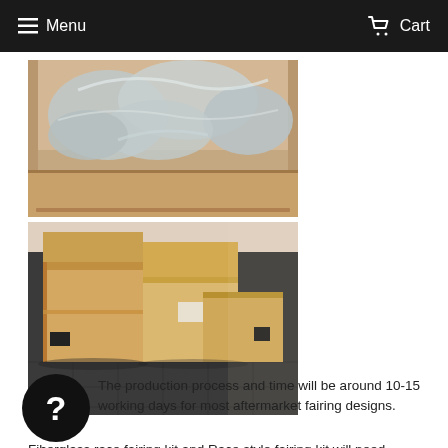Menu   Cart
[Figure (photo): Open cardboard box with plastic-wrapped motorcycle fairing parts inside, viewed from above.]
[Figure (photo): Three cardboard shipping boxes arranged on a dark tiled floor, viewed from the side.]
The production process and time will be around 10-15 working days for most aftermarket fairing designs.
Fiberglass race fairing kit and Race style fairing kit will need